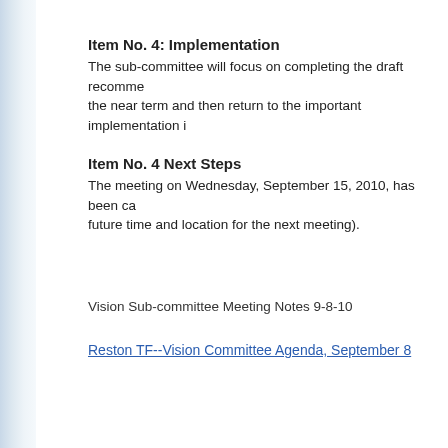Item No. 4: Implementation
The sub-committee will focus on completing the draft recomme... the near term and then return to the important implementation i...
Item No. 4 Next Steps
The meeting on Wednesday, September 15, 2010, has been ca... future time and location for the next meeting).
Vision Sub-committee Meeting Notes 9-8-10
Reston TF--Vision Committee Agenda, September 8